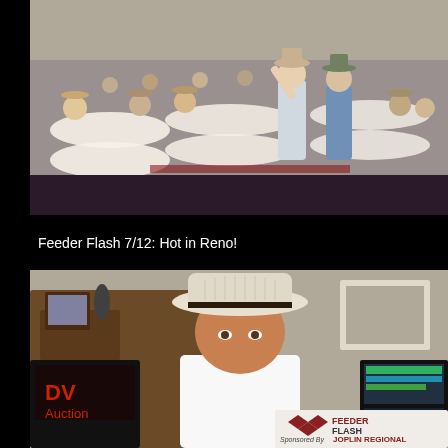[Figure (photo): Wide-angle photograph of a large conference room filled with men wearing cowboy hats seated at round tables, with two men standing in the center aisle, one gesturing with raised arm.]
Feeder Flash 7/12: Hot in Reno!
[Figure (photo): Video still of a man wearing a white cowboy hat and white polo shirt sitting in front of a wooden desk, with DV Auction equipment visible on the left and a Feeder Flash / Joplin Regional sponsored overlay in the bottom right corner.]